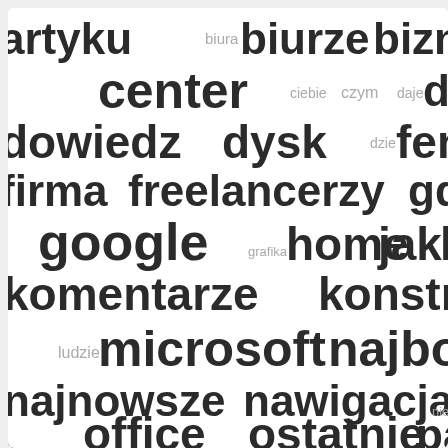[Figure (infographic): Word cloud in Polish featuring terms related to Google, Microsoft Office, business, and technology. Words of varying sizes arranged densely. Large words include: artyku, biurze, biznes, center, dlaczego, dowiedz, dysk, fenomen, firma, freelancerzy, gdrive, google, home, jako, komentarze, konstrukcji, microsoft, najbogatszych, najnowsze, nawigacja, office, ostatnie, papiernic, piaskowanie, polec, polsce, pomys, posiadani, przedsi, rozwi, samoc, skorzysta, stalowych, stu. Smaller words: biura, ciebie, czym, daje, dzie, grafika, ludzie, nienia, podpowie, przysz.]